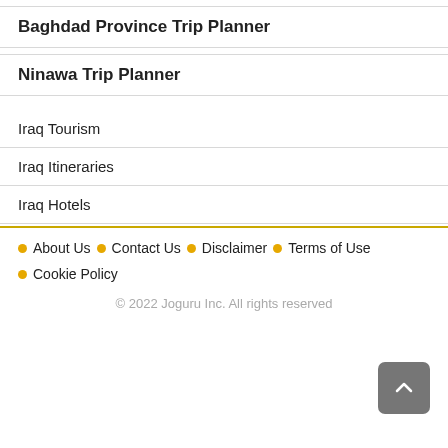Baghdad Province Trip Planner
Ninawa Trip Planner
Iraq Tourism
Iraq Itineraries
Iraq Hotels
About Us · Contact Us · Disclaimer · Terms of Use · Cookie Policy
© 2022 Joguru Inc. All rights reserved